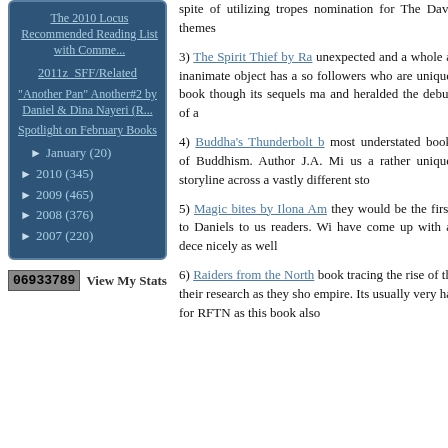The 2010 Locus Recommended Reading List with Comme...
2011z SFF/Related
"Another Pan" Another#2 by Daniel & Dina Nayeri (R...
Spotlight on February Books
► January (20)
► 2010 (345)
► 2009 (465)
► 2008 (376)
► 2007 (220)
06933789 View My Stats
spite of utilizing tropes nomination for The Davi themes
3) The Spirit Thief by Ra unexpected and a whole a inanimate object has a so followers who are unique book though its sequels ma and heralded the debut of a
4) Buddha's Thunderbolt b most understated book of Buddhism. Author J.A. Mi us a rather unique storyline across a vastly different sto
5) Magic bites by Ilona Am they would be the first to Daniels to us readers. Wi have come up with a dece nicely as well
6) Raiders from the North book tracing the rise of th their research as they sho empire. Its usually very ha for RFTN as this book also